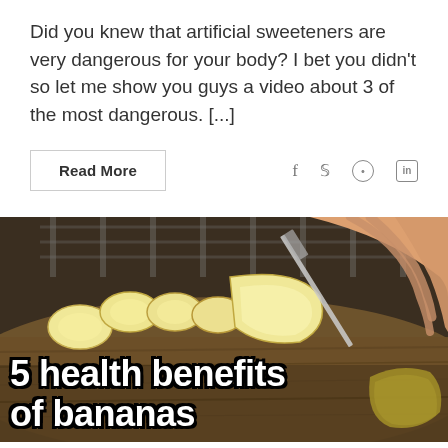Did you knew that artificial sweeteners are very dangerous for your body? I bet you didn't so let me show you guys a video about 3 of the most dangerous. [...]
Read More
[Figure (photo): Person's hand slicing a peeled banana on a wooden cutting board with a knife. Text overlay reads '5 health benefits of bananas' in large white bold font with black outline.]